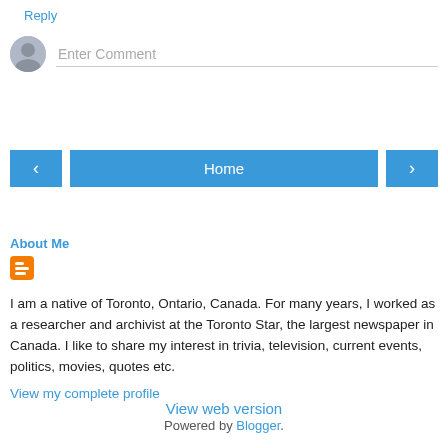Reply
Enter Comment
Home
View web version
About Me
I am a native of Toronto, Ontario, Canada. For many years, I worked as a researcher and archivist at the Toronto Star, the largest newspaper in Canada. I like to share my interest in trivia, television, current events, politics, movies, quotes etc.
View my complete profile
Powered by Blogger.